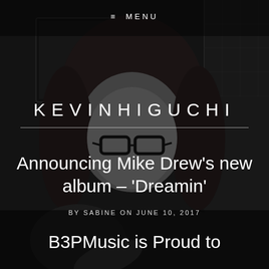[Figure (photo): Black and white portrait photo of a person with long hair and glasses, used as page background]
≡ MENU
KEVINHIGUCHI
Announcing Mike Drew's new album – 'Dreamin'
BY SABINE ON JUNE 10, 2017
B3PMusic is Proud to